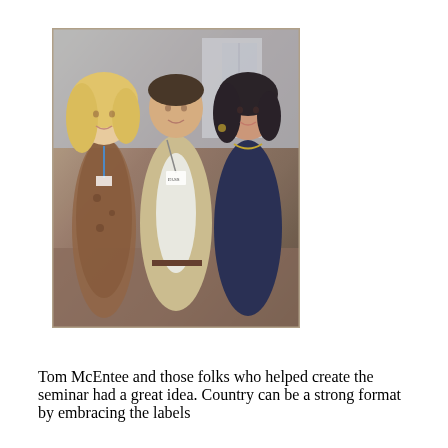[Figure (photo): Three people posing together for a photo at what appears to be a conference or seminar. On the left is a woman with curly blonde hair wearing a leopard print dress with a lanyard/badge. In the center is a man in a tan blazer with a conference badge. On the right is a woman with dark hair wearing a dark navy top with a necklace.]
Tom McEntee and those folks who helped create the seminar had a great idea.  Country can be a strong format by embracing the labels